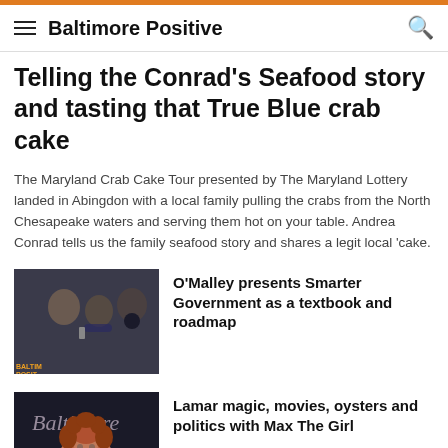Baltimore Positive
Telling the Conrad’s Seafood story and tasting that True Blue crab cake
The Maryland Crab Cake Tour presented by The Maryland Lottery landed in Abingdon with a local family pulling the crabs from the North Chesapeake waters and serving them hot on your table. Andrea Conrad tells us the family seafood story and shares a legit local ‘cake.
[Figure (photo): Three men in a restaurant/bar setting, one wearing headphones, Baltimore Positive logo visible]
O’Malley presents Smarter Government as a textbook and roadmap
[Figure (photo): Woman with curly red hair smiling, Baltimore magazine sign in background]
Lamar magic, movies, oysters and politics with Max The Girl